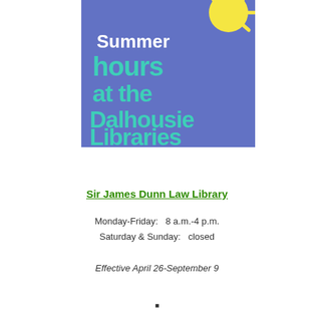[Figure (illustration): Blue square banner with a yellow cartoon sun in the top-right corner and teal/mint text reading 'Summer hours at the Dalhousie Libraries']
Sir James Dunn Law Library
Monday-Friday:   8 a.m.-4 p.m.
Saturday & Sunday:   closed
Effective April 26-September 9